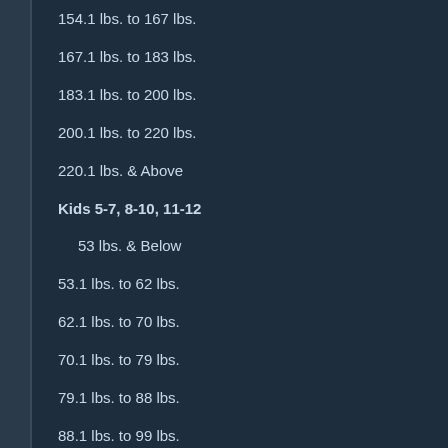154.1 lbs. to 167 lbs.
167.1 lbs. to 183 lbs.
183.1 lbs. to 200 lbs.
200.1 lbs. to 220 lbs.
220.1 lbs. & Above
Kids 5-7, 8-10, 11-12
53 lbs. & Below
53.1 lbs. to 62 lbs.
62.1 lbs. to 70 lbs.
70.1 lbs. to 79 lbs.
79.1 lbs. to 88 lbs.
88.1 lbs. to 99 lbs.